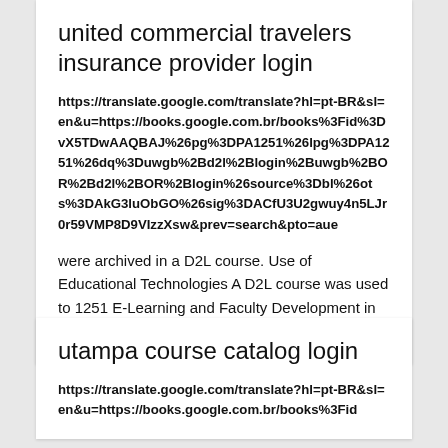united commercial travelers insurance provider login
https://translate.google.com/translate?hl=pt-BR&sl=en&u=https://books.google.com.br/books%3Fid%3DvX5TDwAAQBAJ%26pg%3DPA1251%26lpg%3DPA1251%26dq%3Duwgb%2Bd2l%2Blogin%2Buwgb%2BOR%2Bd2l%2BOR%2Blogin%26source%3Dbl%26ots%3DAkG3luObGO%26sig%3DACfU3U2gwuy4n5LJr0r59VMP8D9VIzzXsw&prev=search&pto=aue
were archived in a D2L course. Use of Educational Technologies A D2L course was used to 1251 E-Learning and Faculty Development in Higher Education.
utampa course catalog login
https://translate.google.com/translate?hl=pt-BR&sl=en&u=https://books.google.com.br/books%3Fid